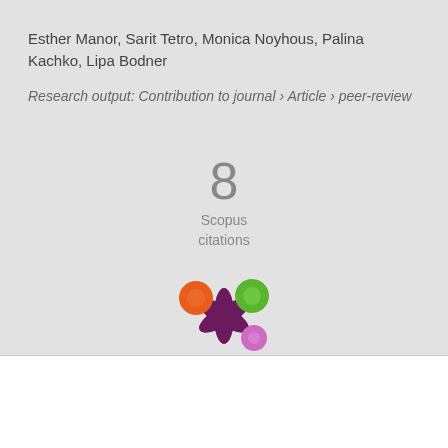Esther Manor, Sarit Tetro, Monica Noyhous, Palina Kachko, Lipa Bodner
Research output: Contribution to journal › Article › peer-review
8
Scopus
citations
[Figure (logo): Altmetric logo — colorful flower-shaped icon with orange, green, and purple/pink circles on dark purple splat shape]
We use cookies to analyse and improve our service. Cookie Policy